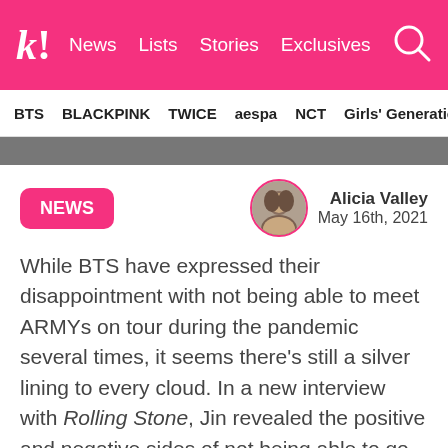k! News Lists Stories Exclusives
BTS BLACKPINK TWICE aespa NCT Girls' Generation
[Figure (photo): Partial image strip at top of article]
NEWS
Alicia Valley
May 16th, 2021
While BTS have expressed their disappointment with not being able to meet ARMYs on tour during the pandemic several times, it seems there's still a silver lining to every cloud. In a new interview with Rolling Stone, Jin revealed the positive and negative sides of not being able to go on tour over the past year or so.
BTS's last tour date was held on October 29, 2019 in Seoul, where the members performed to